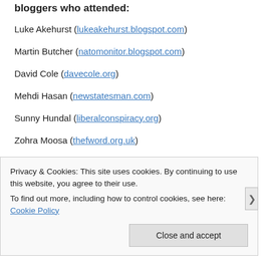bloggers who attended:
Luke Akehurst (lukeakehurst.blogspot.com)
Martin Butcher (natomonitor.blogspot.com)
David Cole (davecole.org)
Mehdi Hasan (newstatesman.com)
Sunny Hundal (liberalconspiracy.org)
Zohra Moosa (thefword.org.uk)
Privacy & Cookies: This site uses cookies. By continuing to use this website, you agree to their use. To find out more, including how to control cookies, see here: Cookie Policy